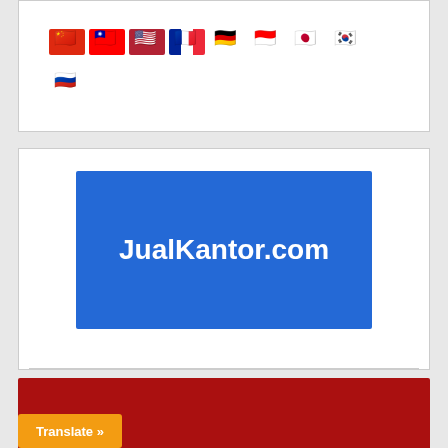[Figure (screenshot): Row of country flag icons: China, Taiwan, USA, France, Germany, Indonesia, Japan, South Korea, and Russia]
[Figure (logo): JualKantor.com logo — white bold text on blue background]
[Figure (logo): Sewa-Rumah.net logo — white and pink bold text on dark red background]
[Figure (screenshot): Orange 'Translate »' button at bottom left]